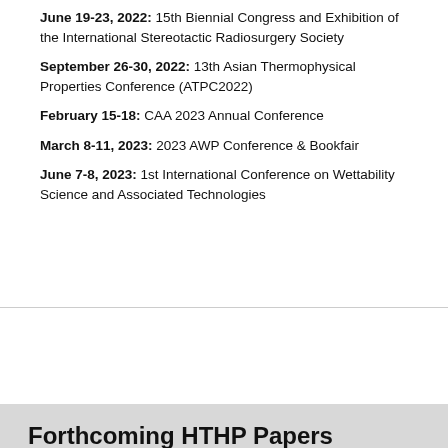June 19-23, 2022: 15th Biennial Congress and Exhibition of the International Stereotactic Radiosurgery Society
September 26-30, 2022: 13th Asian Thermophysical Properties Conference (ATPC2022)
February 15-18: CAA 2023 Annual Conference
March 8-11, 2023: 2023 AWP Conference & Bookfair
June 7-8, 2023: 1st International Conference on Wettability Science and Associated Technologies
Forthcoming HTHP Papers